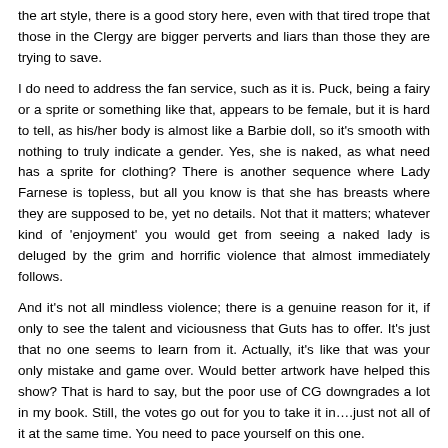the art style, there is a good story here, even with that tired trope that those in the Clergy are bigger perverts and liars than those they are trying to save.
I do need to address the fan service, such as it is. Puck, being a fairy or a sprite or something like that, appears to be female, but it is hard to tell, as his/her body is almost like a Barbie doll, so it's smooth with nothing to truly indicate a gender. Yes, she is naked, as what need has a sprite for clothing? There is another sequence where Lady Farnese is topless, but all you know is that she has breasts where they are supposed to be, yet no details. Not that it matters; whatever kind of 'enjoyment' you would get from seeing a naked lady is deluged by the grim and horrific violence that almost immediately follows.
And it's not all mindless violence; there is a genuine reason for it, if only to see the talent and viciousness that Guts has to offer. It's just that no one seems to learn from it. Actually, it's like that was your only mistake and game over. Would better artwork have helped this show? That is hard to say, but the poor use of CG downgrades a lot in my book. Still, the votes go out for you to take it in….just not all of it at the same time. You need to pace yourself on this one.